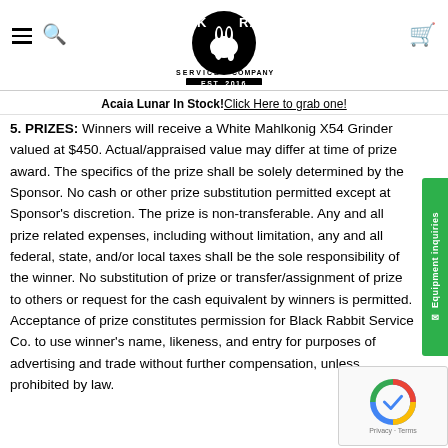Black Rabbit Service Company EST. 2016 — website header with logo
Acaia Lunar In Stock! Click Here to grab one!
5. PRIZES: Winners will receive a White Mahlkonig X54 Grinder valued at $450. Actual/appraised value may differ at time of prize award. The specifics of the prize shall be solely determined by the Sponsor. No cash or other prize substitution permitted except at Sponsor's discretion. The prize is non-transferable. Any and all prize related expenses, including without limitation, any and all federal, state, and/or local taxes shall be the sole responsibility of the winner. No substitution of prize or transfer/assignment of prize to others or request for the cash equivalent by winners is permitted. Acceptance of prize constitutes permission for Black Rabbit Service Co. to use winner's name, likeness, and entry for purposes of advertising and trade without further compensation, unless prohibited by law.